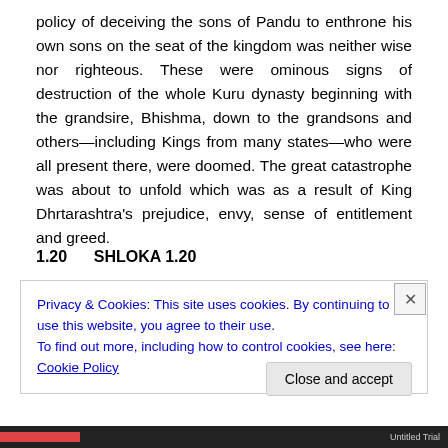policy of deceiving the sons of Pandu to enthrone his own sons on the seat of the kingdom was neither wise nor righteous. These were ominous signs of destruction of the whole Kuru dynasty beginning with the grandsire, Bhishma, down to the grandsons and others—including Kings from many states—who were all present there, were doomed. The great catastrophe was about to unfold which was as a result of King Dhrtarashtra's prejudice, envy, sense of entitlement and greed.
1.20    SHLOKA 1.20
Privacy & Cookies: This site uses cookies. By continuing to use this website, you agree to their use.
To find out more, including how to control cookies, see here: Cookie Policy